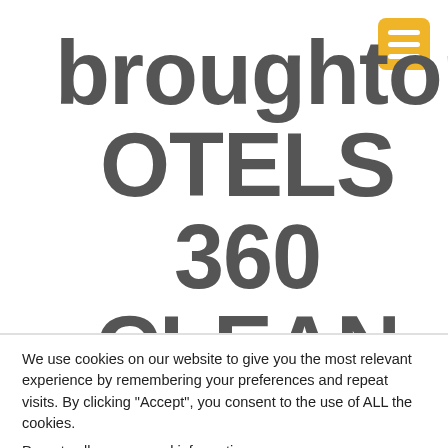[Figure (logo): Hamburger menu icon — yellow/gold rounded rectangle with three white horizontal bars, positioned in the top-right corner of the navigation bar]
broughtonHOTELS 360 CLEAN &
[Figure (logo): Blue circular accessibility icon with white wheelchair user silhouette, positioned at the left side of the navigation bar]
We use cookies on our website to give you the most relevant experience by remembering your preferences and repeat visits. By clicking “Accept”, you consent to the use of ALL the cookies.
Do not sell my personal information.
Cookie Settings
Accept